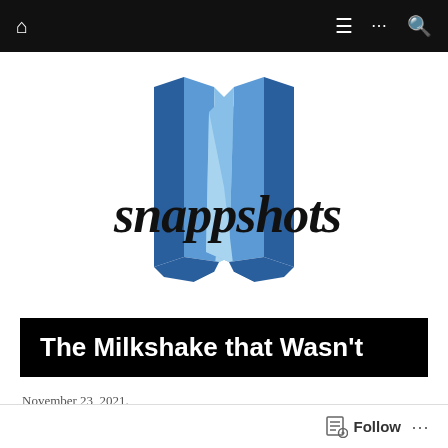Navigation bar with home, menu, and search icons
[Figure (logo): Snappshots logo: open book in shades of blue with cursive 'snappshots' text overlaid]
The Milkshake that Wasn't
November 23, 2021.
Reading time 10 minutes.
Follow ...